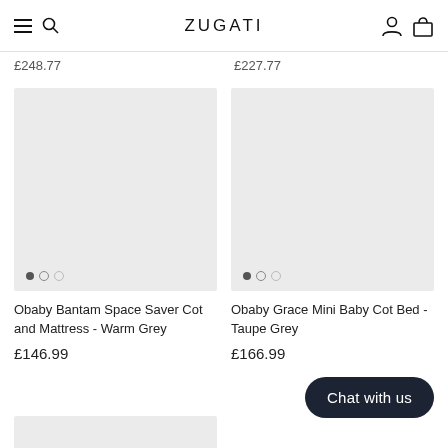ZUGATI
£248.77   £227.77
[Figure (photo): Grey placeholder product image for Obaby Bantam Space Saver Cot and Mattress - Warm Grey with pagination dots]
Obaby Bantam Space Saver Cot and Mattress - Warm Grey
£146.99
[Figure (photo): Grey placeholder product image for Obaby Grace Mini Baby Cot Bed - Taupe Grey with pagination dots]
Obaby Grace Mini Baby Cot Bed - Taupe Grey
£166.99
[Figure (photo): Partially visible grey placeholder product image at the bottom of the page]
Chat with us